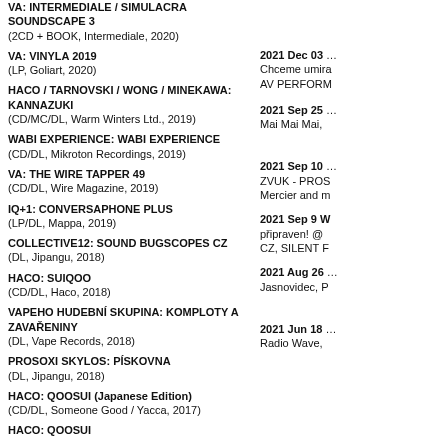VA: INTERMEDIALE / SIMULACRA SOUNDSCAPE 3
(2CD + BOOK, Intermediale, 2020)
VA: VINYLA 2019
(LP, Goliart, 2020)
HACO / TARNOVSKI / WONG / MINEKAWA: KANNAZUKI
(CD/MC/DL, Warm Winters Ltd., 2019)
WABI EXPERIENCE: WABI EXPERIENCE
(CD/DL, Mikroton Recordings, 2019)
VA: THE WIRE TAPPER 49
(CD/DL, Wire Magazine, 2019)
IQ+1: CONVERSAPHONE PLUS
(LP/DL, Mappa, 2019)
COLLECTIVE12: SOUND BUGSCOPES CZ
(DL, Jipangu, 2018)
HACO: SUIQOO
(CD/DL, Haco, 2018)
VAPEHO HUDEBNÍ SKUPINA: KOMPLOTY A ZAVAŘENINY
(DL, Vape Records, 2018)
PROSOXI SKYLOS: PÍSKOVNA
(DL, Jipangu, 2018)
HACO: QOOSUI (Japanese Edition)
(CD/DL, Someone Good / Yacca, 2017)
HACO: QOOSUI
2021 Dec 03
Chceme umira
AV PERFORM
2021 Sep 25
Mai Mai Mai,
2021 Sep 10
ZVUK - PROS
Mercier and m
2021 Sep 9 W
připraven! @
CZ, SILENT F
2021 Aug 26
Jasnovidec, P
2021 Jun 18
Radio Wave,